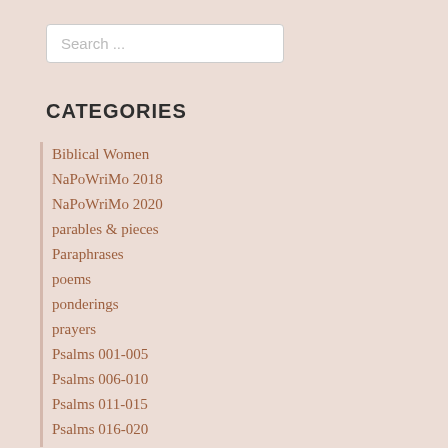Search ...
CATEGORIES
Biblical Women
NaPoWriMo 2018
NaPoWriMo 2020
parables & pieces
Paraphrases
poems
ponderings
prayers
Psalms 001-005
Psalms 006-010
Psalms 011-015
Psalms 016-020
Psalms 021-025
Psalms 026-030
Psalms 031-035